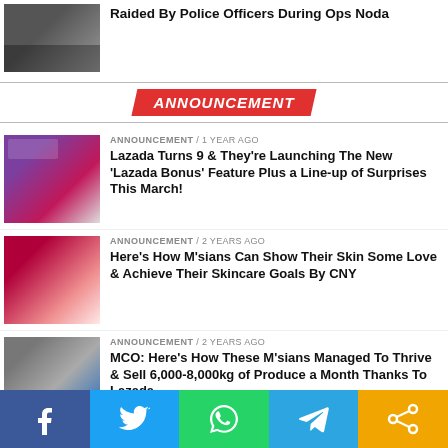Raided By Police Officers During Ops Noda
ANNOUNCEMENT
ANNOUNCEMENT / 1 year ago
Lazada Turns 9 & They're Launching The New 'Lazada Bonus' Feature Plus a Line-up of Surprises This March!
ANNOUNCEMENT / 2 years ago
Here's How M'sians Can Show Their Skin Some Love & Achieve Their Skincare Goals By CNY
ANNOUNCEMENT / 2 years ago
MCO: Here's How These M'sians Managed To Thrive & Sell 6,000-8,000kg of Produce a Month Thanks To Lazada